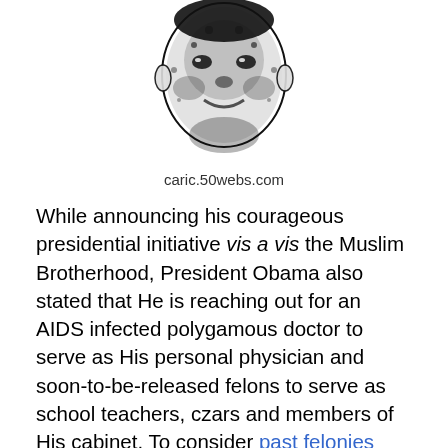[Figure (illustration): Black and white illustration/caricature image, partially visible at top of page]
caric.50webs.com
While announcing his courageous presidential initiative vis a vis the Muslim Brotherhood, President Obama also stated that He is reaching out for an AIDS infected polygamous doctor to serve as His personal physician and soon-to-be-released felons to serve as school teachers, czars and members of His cabinet. To consider past felonies could, according to Obama's EEOC, have “a disparate impact based on race and national origin.”
At a press conference held at the nineteenth hole at the Floridian Golf and Yacht Club in Palm City, Florida, Obama stated